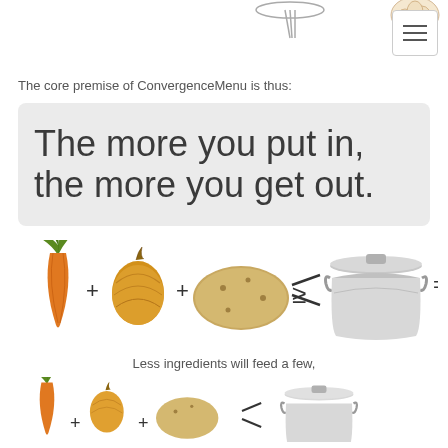[Figure (illustration): Top decorative food images (whisk and other items) partially visible at top of page]
The core premise of ConvergenceMenu is thus:
The more you put in, the more you get out.
[Figure (illustration): Equation illustration: carrot + onion + potato => cooking pot = (result cut off)]
Less ingredients will feed a few,
[Figure (illustration): Second equation illustration (smaller): carrot + smaller onion + potato => cooking pot = (result cut off), showing fewer ingredients]